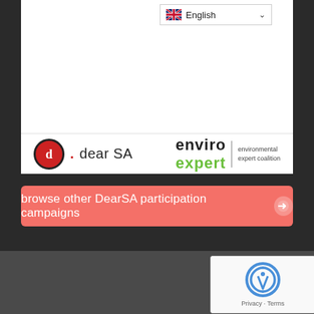[Figure (screenshot): Language selector dropdown showing English with UK flag]
[Figure (logo): dearSA logo — red circle with 'd' and 'dear SA' text]
[Figure (logo): enviro expert logo with environmental expert coalition tagline]
browse other DearSA participation campaigns
[Figure (logo): Google reCAPTCHA widget with Privacy and Terms links]